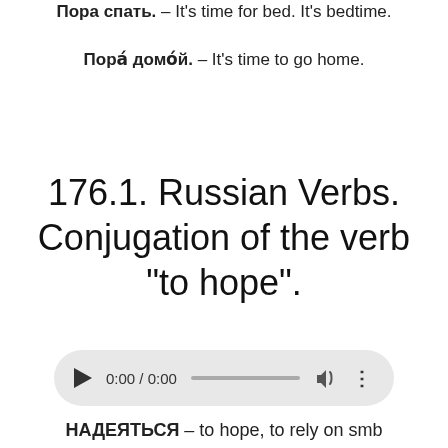Пора спать. – It's time for bed. It's bedtime.
Пора домой. – It's time to go home.
176.1. Russian Verbs. Conjugation of the verb "to hope".
[Figure (other): Audio player widget showing 0:00 / 0:00 with play button, progress bar, volume icon, and more options icon]
НАДЕЯТЬСЯ – to hope, to rely on smb